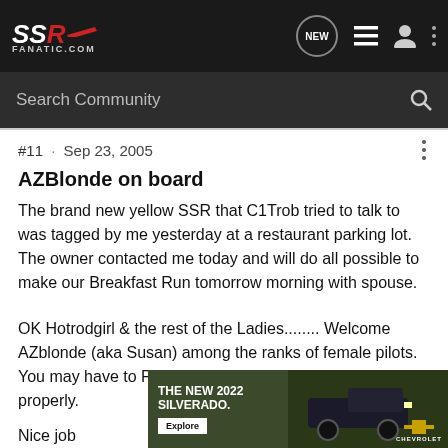SSR Fanatic.com — navigation bar with NEW chat icon, list icon, user icon, and more options
Search Community
#11 · Sep 23, 2005
AZBlonde on board
The brand new yellow SSR that C1Trob tried to talk to was tagged by me yesterday at a restaurant parking lot. The owner contacted me today and will do all possible to make our Breakfast Run tomorrow morning with spouse.
OK Hotrodgirl & the rest of the Ladies........ Welcome AZblonde (aka Susan) among the ranks of female pilots. You may have to PM her a little to bring her on board properly.
Nice job
[Figure (photo): Advertisement for The New 2022 Silverado by Chevrolet, showing a dark truck in a outdoor setting with an Explore button]